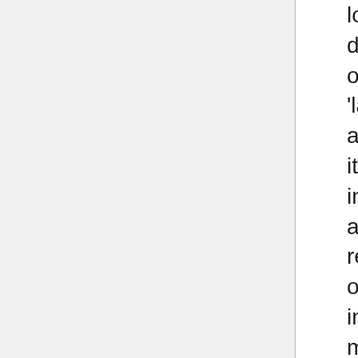lower-level calls to the database. Performance is optimized through the use of 'lazy evaluation'. Only when associated data is requested is it retrieved from the database into memory. In addition there are 'Search' classes which return groups of objects based on search criteria. For instance, one can call a method to retrieve genes which have names matching a wild card query or genes that fall in a particular region on a chromosome. Modware was developed as middleware for dictyBase but has been engineered to be organism and database independent. It is open-source (BSD License) and has been carefully documented on the web along with the source code and quick-start guide at:
http://gmod-ware.sourceforge.net.